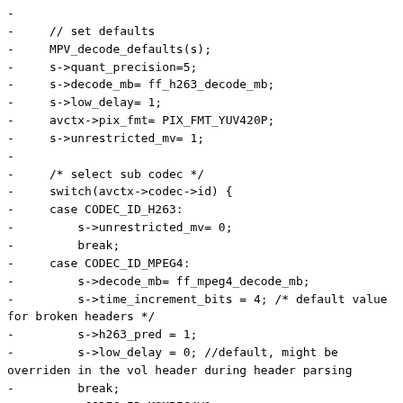Code diff showing removal of initialization code for MPV decoder including set defaults, sub codec selection switch statement with cases for CODEC_ID_H263, CODEC_ID_MPEG4, CODEC_ID_MSMPEG4V1, CODEC_ID_MSMPEG4V2